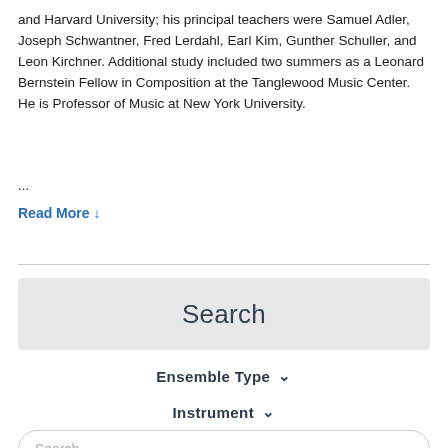and Harvard University; his principal teachers were Samuel Adler, Joseph Schwantner, Fred Lerdahl, Earl Kim, Gunther Schuller, and Leon Kirchner. Additional study included two summers as a Leonard Bernstein Fellow in Composition at the Tanglewood Music Center. He is Professor of Music at New York University.
...
Read More ↓
[Figure (screenshot): Search interface element with light gray background showing the word 'Search' centered in large text]
Ensemble Type ∨
Instrument ∨
Search (input placeholder)